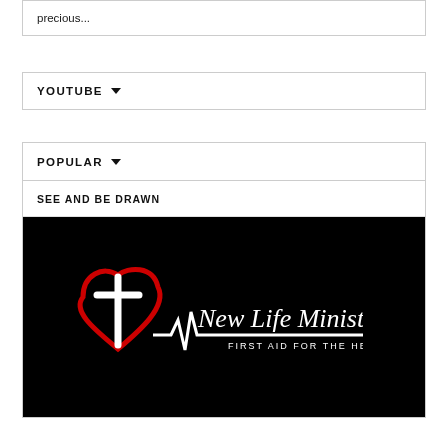precious...
YOUTUBE
POPULAR
SEE AND BE DRAWN
[Figure (logo): New Life Ministry logo on black background — red heart outline with white cross forming the letter T, and a heartbeat line, with white script text 'New Life Ministry' and smaller text 'FIRST AID FOR THE HEART']